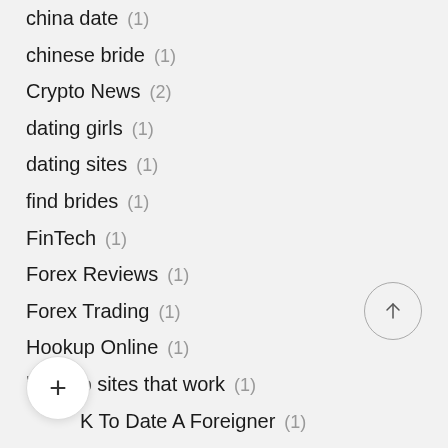china date (1)
chinese bride (1)
Crypto News (2)
dating girls (1)
dating sites (1)
find brides (1)
FinTech (1)
Forex Reviews (1)
Forex Trading (1)
Hookup Online (1)
hookup sites that work (1)
How To Date A Foreigner (1)
Вакансії (1)
IT об... (1)